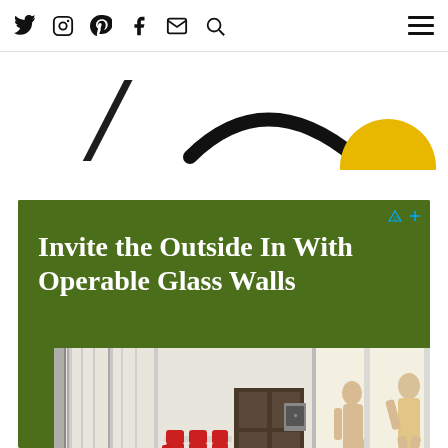Social media icons: Twitter, Instagram, Pinterest, Facebook, Email, Search; Hamburger menu
[Figure (logo): Partial logo with black curved elements and a yellow/gold semicircle on the right, cropped at top]
[Figure (screenshot): Advertisement banner with dark green background. Headline: 'Invite the Outside In With Operable Glass Walls'. Below: photo of a modern interior with large operable glass walls showing kitchen/dining area with red chairs and people in motion.]